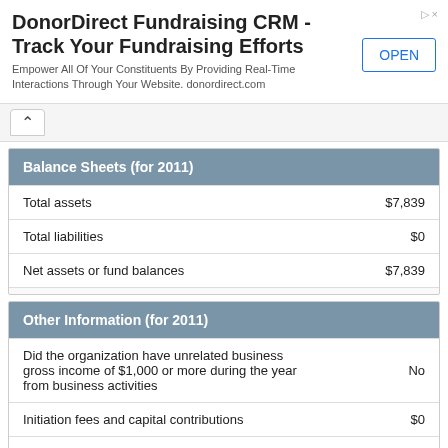[Figure (other): Advertisement banner for DonorDirect Fundraising CRM with OPEN button]
| Balance Sheets (for 2011) |  |
| --- | --- |
| Total assets | $7,839 |
| Total liabilities | $0 |
| Net assets or fund balances | $7,839 |
| Other Information (for 2011) |  |
| --- | --- |
| Did the organization have unrelated business gross income of $1,000 or more during the year from business activities | No |
| Initiation fees and capital contributions | $0 |
| Gross receipts for public use of club facilities | $0 |